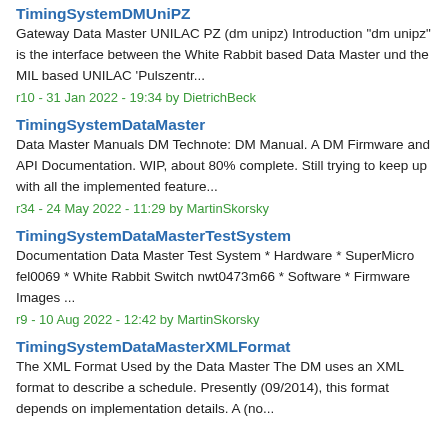TimingSystemDMUniPZ
Gateway Data Master UNILAC PZ (dm unipz) Introduction "dm unipz" is the interface between the White Rabbit based Data Master und the MIL based UNILAC 'Pulszentr...
r10 - 31 Jan 2022 - 19:34 by DietrichBeck
TimingSystemDataMaster
Data Master Manuals DM Technote: DM Manual. A DM Firmware and API Documentation. WIP, about 80% complete. Still trying to keep up with all the implemented feature...
r34 - 24 May 2022 - 11:29 by MartinSkorsky
TimingSystemDataMasterTestSystem
Documentation Data Master Test System * Hardware * SuperMicro fel0069 * White Rabbit Switch nwt0473m66 * Software * Firmware Images ...
r9 - 10 Aug 2022 - 12:42 by MartinSkorsky
TimingSystemDataMasterXMLFormat
The XML Format Used by the Data Master The DM uses an XML format to describe a schedule. Presently (09/2014), this format depends on implementation details. A (no...